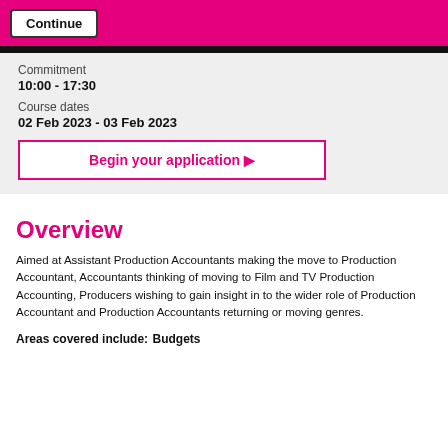[Figure (screenshot): Pink header bar with a Continue button]
Commitment
10:00 - 17:30
Course dates
02 Feb 2023 - 03 Feb 2023
Begin your application ▶
Overview
Aimed at Assistant Production Accountants making the move to Production Accountant, Accountants thinking of moving to Film and TV Production Accounting, Producers wishing to gain insight in to the wider role of Production Accountant and Production Accountants returning or moving genres.
Areas covered include:
Budgets